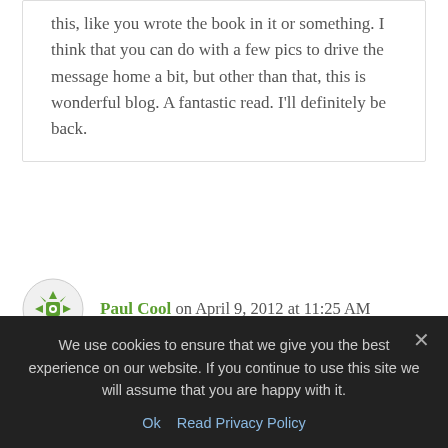this, like you wrote the book in it or something. I think that you can do with a few pics to drive the message home a bit, but other than that, this is wonderful blog. A fantastic read. I'll definitely be back.
Paul Cool on April 9, 2012 at 11:25 AM
Jeff Herman is good for prescriptive nonfiction proposals (The 10 Habits of Slim People, etc.), written by authors
We use cookies to ensure that we give you the best experience on our website. If you continue to use this site we will assume that you are happy with it.
Ok  Read Privacy Policy